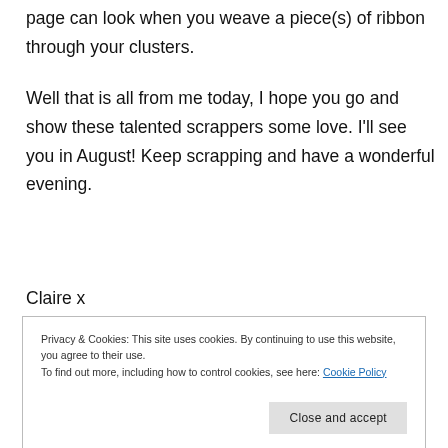page can look when you weave a piece(s) of ribbon through your clusters.
Well that is all from me today, I hope you go and show these talented scrappers some love. I'll see you in August! Keep scrapping and have a wonderful evening.
Claire x
Privacy & Cookies: This site uses cookies. By continuing to use this website, you agree to their use.
To find out more, including how to control cookies, see here: Cookie Policy
Close and accept